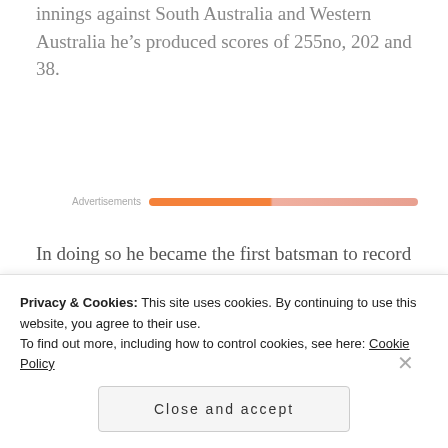innings against South Australia and Western Australia he's produced scores of 255no, 202 and 38.
[Figure (other): Advertisements progress/loading bar in orange gradient]
In doing so he became the first batsman to record successive double hundreds in the
Privacy & Cookies: This site uses cookies. By continuing to use this website, you agree to their use.
To find out more, including how to control cookies, see here: Cookie Policy
Close and accept